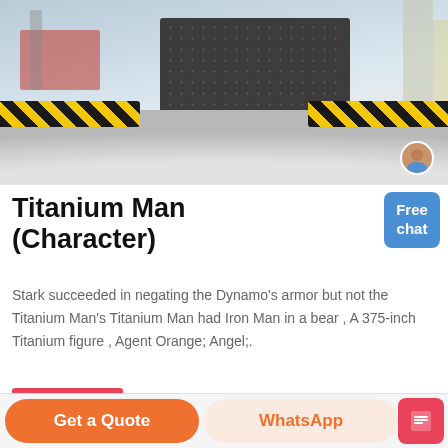[Figure (photo): Industrial crushing machine (gray metal) sitting on a pile of white aggregate/gravel inside a factory, with black-and-yellow safety stripes on both sides. A small circular avatar of a person is visible in the bottom-right corner of the photo.]
Titanium Man (Character)
Stark succeeded in negating the Dynamo's armor but not the Titanium Man's Titanium Man had Iron Man in a bear , A 375-inch Titanium figure , Agent Orange; Angel;.
MORE
Get a Quote   WhatsApp